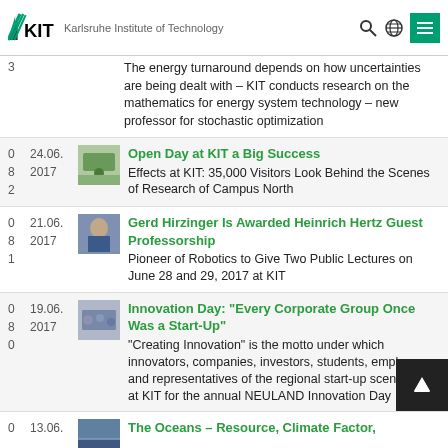KIT – Karlsruhe Institute of Technology
3 — The energy turnaround depends on how uncertainties are being dealt with – KIT conducts research on the mathematics for energy system technology – new professor for stochastic optimization
082 — 24.06.2017 — Open Day at KIT a Big Success — Effects at KIT: 35,000 Visitors Look Behind the Scenes of Research of Campus North
081 — 21.06.2017 — Gerd Hirzinger Is Awarded Heinrich Hertz Guest Professorship — Pioneer of Robotics to Give Two Public Lectures on June 28 and 29, 2017 at KIT
080 — 19.06.2017 — Innovation Day: "Every Corporate Group Once Was a Start-Up" — "Creating Innovation" is the motto under which innovators, companies, investors, students, employees, and representatives of the regional start-up scene meet at KIT for the annual NEULAND Innovation Day
0 — 13.06. — The Oceans – Resource, Climate Factor, ...